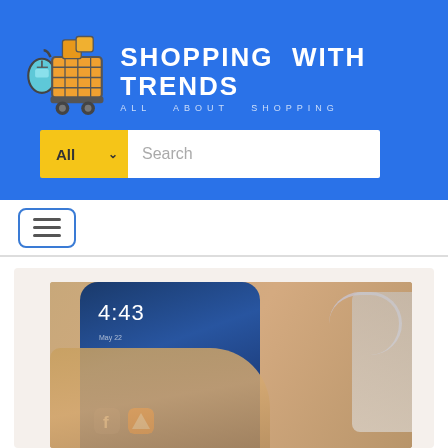[Figure (logo): Shopping With Trends logo with shopping cart icon, blue background, yellow/orange cart, 'SHOPPING WITH TRENDS' text in white, tagline 'ALL ABOUT SHOPPING']
[Figure (screenshot): Search bar with yellow 'All' dropdown and white search input field with placeholder text 'Search']
[Figure (screenshot): Navigation hamburger menu button with three horizontal lines, blue border, white background]
[Figure (photo): A hand holding a smartphone showing time 4:43 on screen with app icons, wooden table background, headphone cable visible]